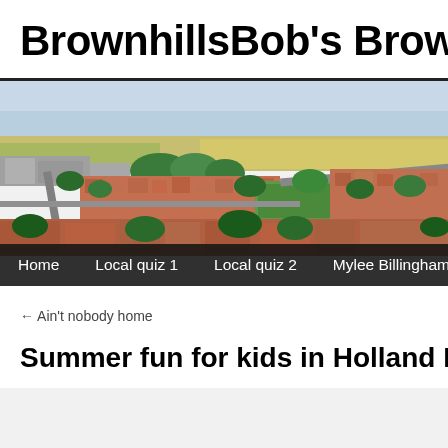BrownhillsBob's Brownhills B
[Figure (photo): Aerial photograph of Brownhills town showing residential streets, green spaces, and surrounding farmland viewed from above.]
Home   Local quiz 1   Local quiz 2   Mylee Billingham, rest in peac
← Ain't nobody home
Summer fun for kids in Holland Park toda